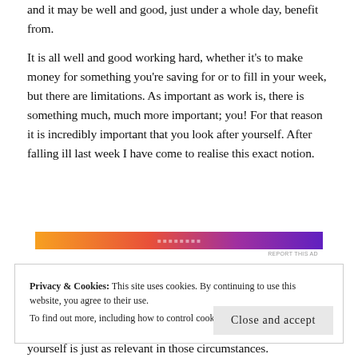and it may be well and good, just under a whole day, benefit from.
It is all well and good working hard, whether it's to make money for something you're saving for or to fill in your week, but there are limitations. As important as work is, there is something much, much more important; you! For that reason it is incredibly important that you look after yourself. After falling ill last week I have come to realise this exact notion.
[Figure (other): Horizontal gradient advertisement banner going from orange to purple]
REPORT THIS AD
Privacy & Cookies: This site uses cookies. By continuing to use this website, you agree to their use.
To find out more, including how to control cookies, see here: Cookie Policy
Close and accept
yourself is just as relevant in those circumstances.